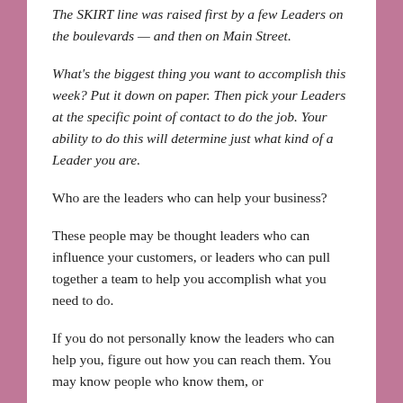The SKIRT line was raised first by a few Leaders on the boulevards — and then on Main Street.
What's the biggest thing you want to accomplish this week? Put it down on paper. Then pick your Leaders at the specific point of contact to do the job. Your ability to do this will determine just what kind of a Leader you are.
Who are the leaders who can help your business?
These people may be thought leaders who can influence your customers, or leaders who can pull together a team to help you accomplish what you need to do.
If you do not personally know the leaders who can help you, figure out how you can reach them. You may know people who know them, or